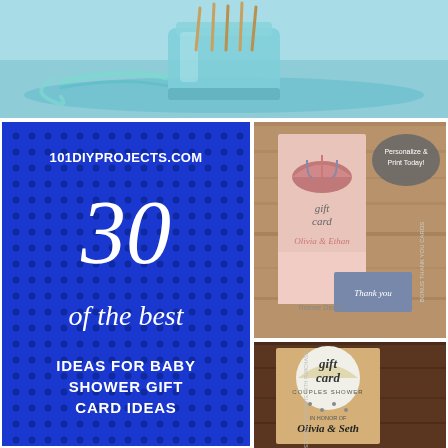[Figure (photo): Top banner photo of a mason jar with teal/mint ribbon and wooden skewers or pencils, light blue-teal background]
[Figure (infographic): Blue panel with dot grid pattern. Text: 101DIYPROJECTS.COM, large italic 30, italic 'of the best', bold text 'IDEAS FOR BABY SHOWER GIFT CARD IDEAS']
[Figure (photo): Top-right photo of a pink and gray baby shower invitation set with umbrella design, 'gift card shower', 'Olivia & Ethan', Reimer Design. Tag says 'Personalize & Print Today!']
[Figure (photo): Bottom-right photo of a kraft paper 'gift card couples shower' invitation with umbrella and rain drops, 'Olivia & Seth', date August 13, Cartersville GA. Side text: FREE THANK YOU NOTE WITH PURCHASE, CUSTOMIZED ENGAGEMENT PARTY/COUPLES SHOWER/WEDDING SHOWER, ETC.]